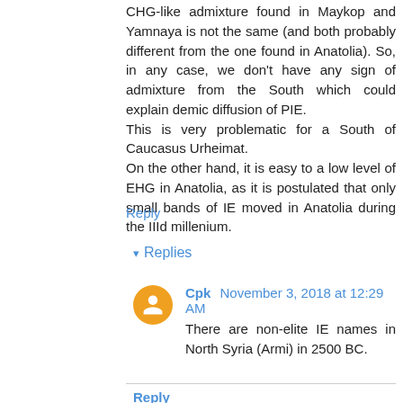CHG-like admixture found in Maykop and Yamnaya is not the same (and both probably different from the one found in Anatolia). So, in any case, we don't have any sign of admixture from the South which could explain demic diffusion of PIE. This is very problematic for a South of Caucasus Urheimat. On the other hand, it is easy to a low level of EHG in Anatolia, as it is postulated that only small bands of IE moved in Anatolia during the IIId millenium.
Reply
▾ Replies
Cpk  November 3, 2018 at 12:29 AM
There are non-elite IE names in North Syria (Armi) in 2500 BC.
Reply
Unknown  November 1, 2018 at 7:44 PM